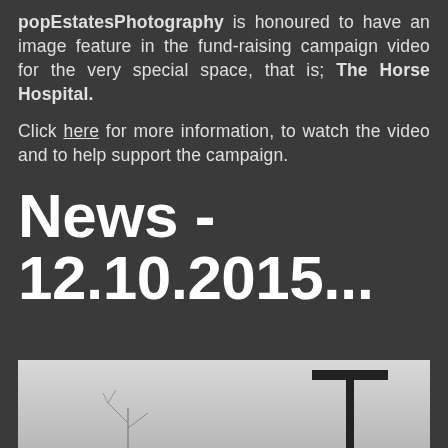popEstatesPhotography is honoured to have an image feature in the fundraising campaign video for the very special space, that is; The Horse Hospital.
Click here for more information, to watch the video and to help support the campaign.
News - 12.10.2015...
[Figure (photo): Black and white photograph showing a T-shaped pole/structure against a light sky, with bare plant branches visible in the lower left]